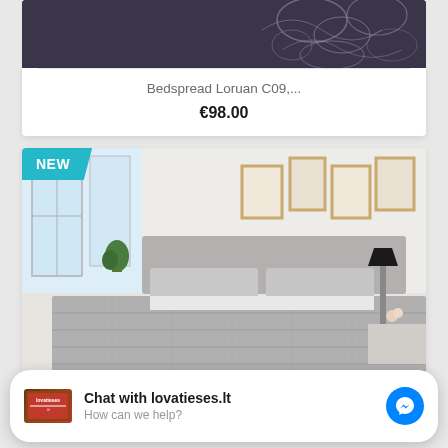[Figure (photo): Top portion of a dark purple/grey bedspread product card with floral pattern visible]
Bedspread Loruan C09,...
€98.00
[Figure (photo): Bedroom scene showing a grey quilted bedspread on a bed with pillows, with a NEW badge in teal in top-left corner]
Chat with lovatieses.lt
How can we help?